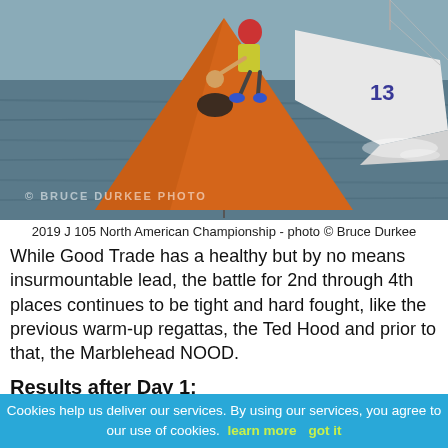[Figure (photo): Sailing race photo showing an orange triangular buoy marker in the water with a white sailboat numbered 13 sailing close by. A crew member in a yellow vest is leaning over the side. Text watermark: BRUCE DURKEE PHOTO]
2019 J 105 North American Championship - photo © Bruce Durkee
While Good Trade has a healthy but by no means insurmountable lead, the battle for 2nd through 4th places continues to be tight and hard fought, like the previous warm-up regattas, the Ted Hood and prior to that, the Marblehead NOOD.
Results after Day 1:
| Bow | Sail | Yacht | Owner / |  |  |  |  |  |
| --- | --- | --- | --- | --- | --- | --- | --- | --- |
Cookies help us deliver our services. By using our services, you agree to our use of cookies. learn more   got it